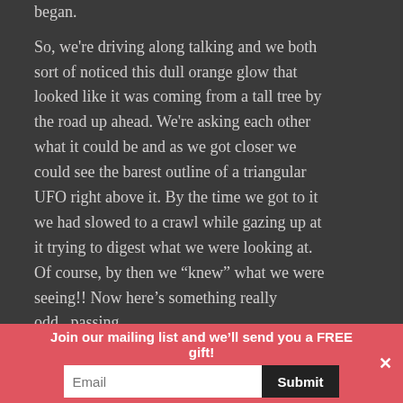began.

So, we're driving along talking and we both sort of noticed this dull orange glow that looked like it was coming from a tall tree by the road up ahead. We're asking each other what it could be and as we got closer we could see the barest outline of a triangular UFO right above it. By the time we got to it we had slowed to a crawl while gazing up at it trying to digest what we were looking at. Of course, by then we "knew" what we were seeing!! Now here's something really odd...passing
Join our mailing list and we'll send you a FREE gift!